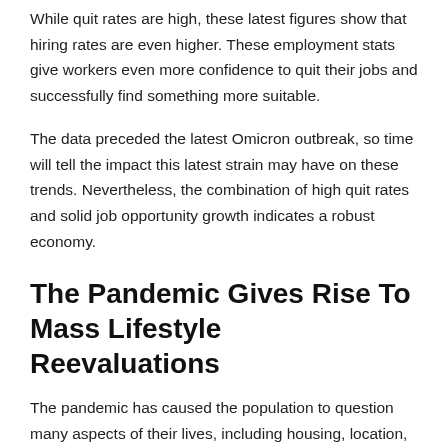While quit rates are high, these latest figures show that hiring rates are even higher. These employment stats give workers even more confidence to quit their jobs and successfully find something more suitable.
The data preceded the latest Omicron outbreak, so time will tell the impact this latest strain may have on these trends. Nevertheless, the combination of high quit rates and solid job opportunity growth indicates a robust economy.
The Pandemic Gives Rise To Mass Lifestyle Reevaluations
The pandemic has caused the population to question many aspects of their lives, including housing, location, and employment. The lockdown conditions highlight some of the long-term challenges that workers face